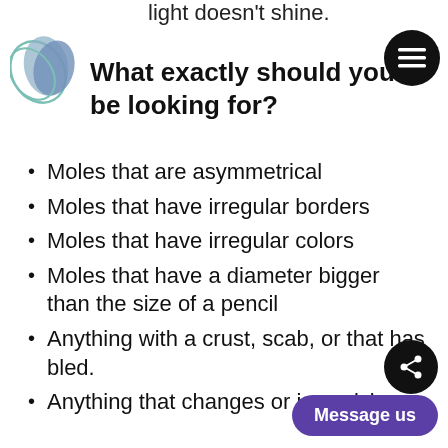light doesn't shine.
[Figure (logo): Stylized leaf/petal logo in teal and blue]
What exactly should you be looking for?
Moles that are asymmetrical
Moles that have irregular borders
Moles that have irregular colors
Moles that have a diameter bigger than the size of a pencil
Anything with a crust, scab, or that has bled.
Anything that changes or is evolving.